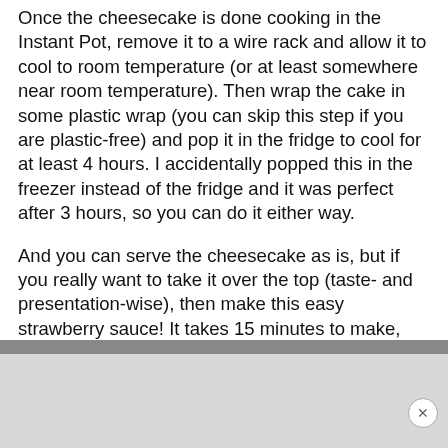Once the cheesecake is done cooking in the Instant Pot, remove it to a wire rack and allow it to cool to room temperature (or at least somewhere near room temperature). Then wrap the cake in some plastic wrap (you can skip this step if you are plastic-free) and pop it in the fridge to cool for at least 4 hours. I accidentally popped this in the freezer instead of the fridge and it was perfect after 3 hours, so you can do it either way.
And you can serve the cheesecake as is, but if you really want to take it over the top (taste- and presentation-wise), then make this easy strawberry sauce! It takes 15 minutes to make, has just four ingredients, and is so delicious (especially right now since we're in strawberry season).
[Figure (screenshot): UI overlay showing heart/save button with count 56 and pink search button]
[Figure (photo): Advertisement banner at bottom of page, gray rectangle]